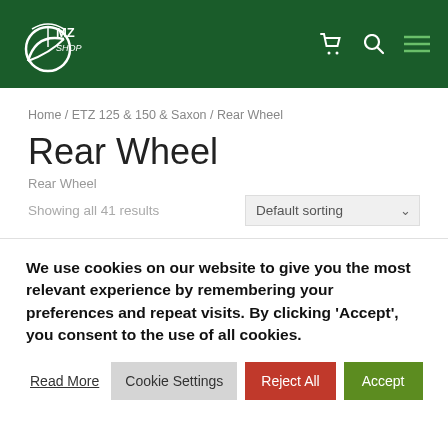MZ Shop
Home / ETZ 125 & 150 & Saxon / Rear Wheel
Rear Wheel
Rear Wheel
Showing all 41 results
We use cookies on our website to give you the most relevant experience by remembering your preferences and repeat visits. By clicking 'Accept', you consent to the use of all cookies.
Read More | Cookie Settings | Reject All | Accept